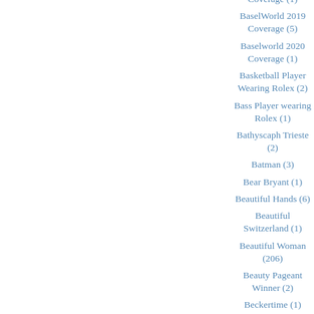Coverage (1)
BaselWorld 2019 Coverage (5)
Baselworld 2020 Coverage (1)
Basketball Player Wearing Rolex (2)
Bass Player wearing Rolex (1)
Bathyscaph Trieste (2)
Batman (3)
Bear Bryant (1)
Beautiful Hands (6)
Beautiful Switzerland (1)
Beautiful Woman (206)
Beauty Pageant Winner (2)
Beckertime (1)